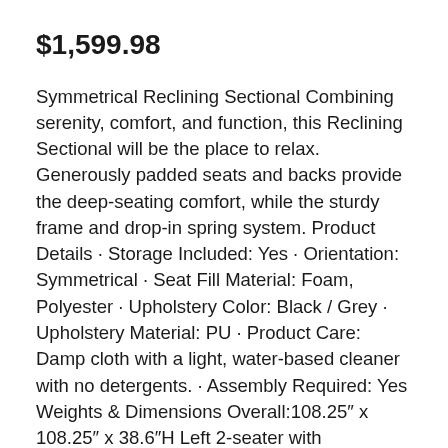$1,599.98
Symmetrical Reclining Sectional Combining serenity, comfort, and function, this Reclining Sectional will be the place to relax. Generously padded seats and backs provide the deep-seating comfort, while the sturdy frame and drop-in spring system. Product Details · Storage Included: Yes · Orientation: Symmetrical · Seat Fill Material: Foam, Polyester · Upholstery Color: Black / Grey · Upholstery Material: PU · Product Care: Damp cloth with a light, water-based cleaner with no detergents. · Assembly Required: Yes Weights & Dimensions Overall:108.25″ x 108.25″ x 38.6″H Left 2-seater with console:65″ x 39.3″ x 35.6″H Corner